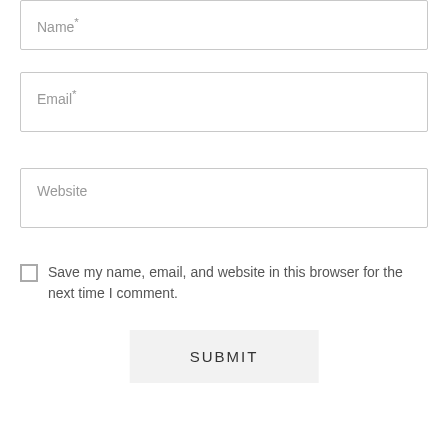Name*
Email*
Website
Save my name, email, and website in this browser for the next time I comment.
SUBMIT